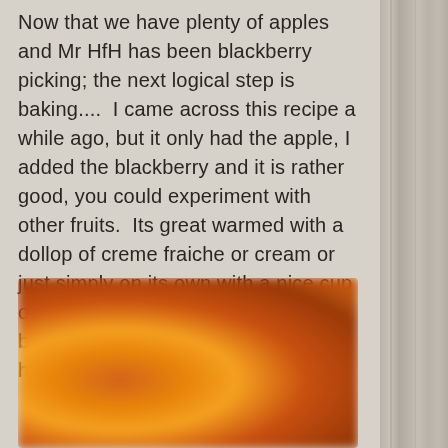Now that we have plenty of apples and Mr HfH has been blackberry picking; the next logical step is baking....  I came across this recipe a while ago, but it only had the apple, I added the blackberry and it is rather good, you could experiment with other fruits.  Its great warmed with a dollop of creme fraiche or cream or just simply on its own with a nice cup of tea.  It has a consistency of a bread pudding, but is quite light - hope you enjoy it.
[Figure (photo): A blurred close-up photo of what appears to be a baked fruit pudding or cake with warm golden-orange and amber tones, showing a golden-brown baked surface.]